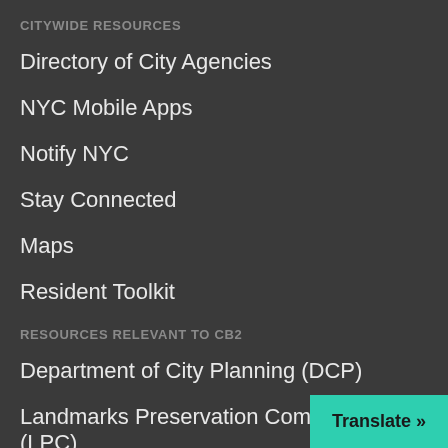CITYWIDE RESOURCES
Directory of City Agencies
NYC Mobile Apps
Notify NYC
Stay Connected
Maps
Resident Toolkit
RESOURCES RELEVANT TO CB2
Department of City Planning (DCP)
Landmarks Preservation Commission (LPC)
Board of Standards and Appeals (BSA)
NYC Housing Connect (Affordable Housing Listings)
Translate »